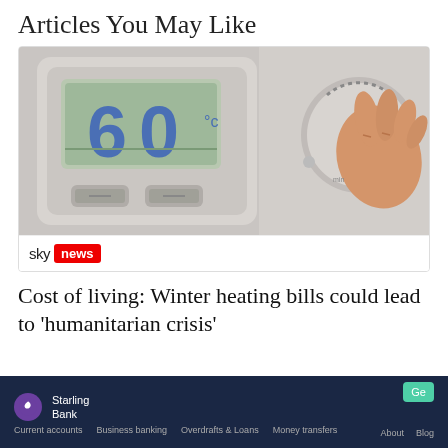Articles You May Like
[Figure (photo): Close-up photo of a boiler thermostat display showing 60°C, with a hand turning a dial control knob on the right side. The device is white/grey colored.]
sky news
Cost of living: Winter heating bills could lead to 'humanitarian crisis'
[Figure (screenshot): Starling Bank website navigation bar with dark navy background showing logo, bank name, navigation links: Current accounts, Business banking, Overdrafts & Loans, Money transfers, and right side About, Blog links, and a Get button.]